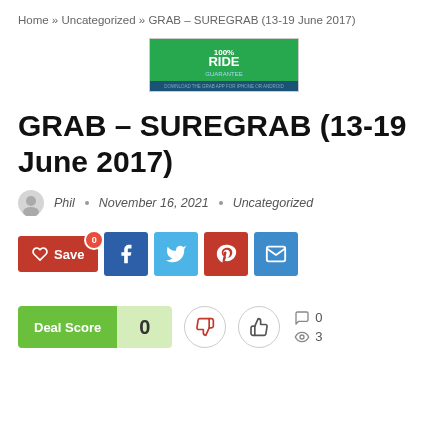Home » Uncategorized » GRAB – SUREGRAB (13-19 June 2017)
[Figure (illustration): Green banner image with '100% RIDE' text in white on green background with a dark blue bottom bar]
GRAB – SUREGRAB (13-19 June 2017)
Phil · November 16, 2021 · Uncategorized
[Figure (infographic): Social share buttons: Save (heart, red), Facebook (blue), Twitter (light blue), Pinterest (red), Email (blue)]
[Figure (infographic): Deal Score: 0, with thumbs down and thumbs up vote buttons, comment count 0, view count 3]